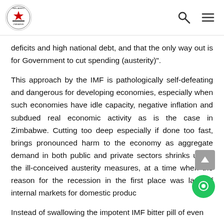Parliament of Zimbabwe header with logo, search and menu icons
deficits and high national debt, and that the only way out is for Government to cut spending (austerity)".
This approach by the IMF is pathologically self-defeating and dangerous for developing economies, especially when such economies have idle capacity, negative inflation and subdued real economic activity as is the case in Zimbabwe. Cutting too deep especially if done too fast, brings pronounced harm to the economy as aggregate demand in both public and private sectors shrinks under the ill-conceived austerity measures, at a time when the reason for the recession in the first place was lack of internal markets for domestic produc
Instead of swallowing the impotent IMF bitter pill of even